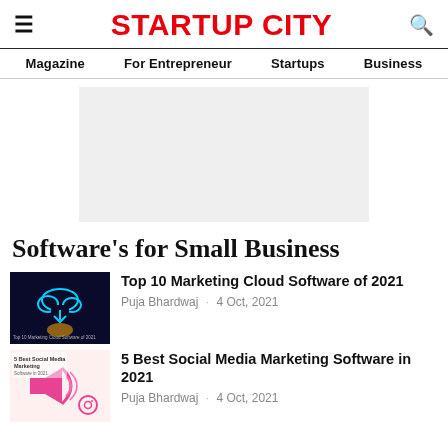STARTUP CITY
Magazine   For Entrepreneur   Startups   Business
[Figure (other): Advertisement placeholder block (light gray rectangle)]
Software's for Small Business
[Figure (illustration): Thumbnail image for 'Top 10 Marketing Cloud Software of 2021' article — dark blue background with a glowing cloud icon and hand]
Top 10 Marketing Cloud Software of 2021
Puja Bhardwaj · 4 Oct, 2021
[Figure (illustration): Thumbnail image for '5 Best Social Media Marketing Software in 2021' article — pink/white background with megaphone and social media icons]
5 Best Social Media Marketing Software in 2021
Puja Bhardwaj · 4 Oct, 2021